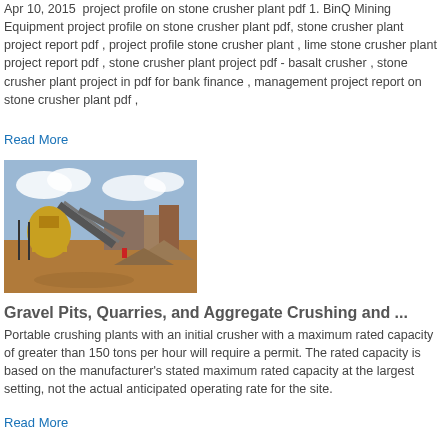Apr 10, 2015  project profile on stone crusher plant pdf 1. BinQ Mining Equipment project profile on stone crusher plant pdf, stone crusher plant project report pdf , project profile stone crusher plant , lime stone crusher plant project report pdf , stone crusher plant project pdf - basalt crusher , stone crusher plant project in pdf for bank finance , management project report on stone crusher plant pdf ,
Read More
[Figure (photo): Outdoor stone crushing plant with industrial machinery, conveyor belts, yellow crusher machine, and aggregate piles under a partly cloudy sky.]
Gravel Pits, Quarries, and Aggregate Crushing and ...
Portable crushing plants with an initial crusher with a maximum rated capacity of greater than 150 tons per hour will require a permit. The rated capacity is based on the manufacturer's stated maximum rated capacity at the largest setting, not the actual anticipated operating rate for the site.
Read More